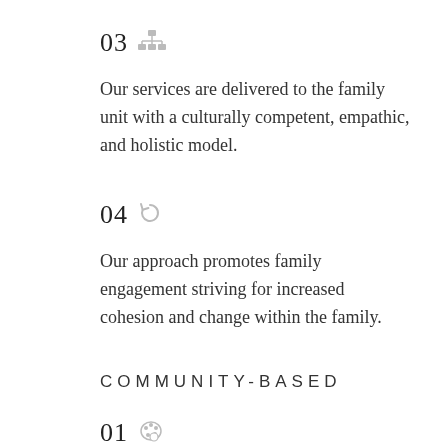03 [icon: org chart] Our services are delivered to the family unit with a culturally competent, empathic, and holistic model.
04 [icon: history/refresh] Our approach promotes family engagement striving for increased cohesion and change within the family.
COMMUNITY-BASED
01 [icon: palette]